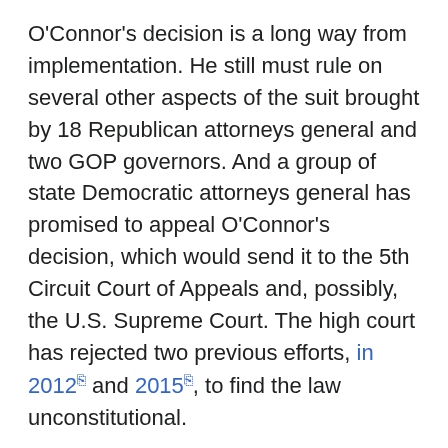O'Connor's decision is a long way from implementation. He still must rule on several other aspects of the suit brought by 18 Republican attorneys general and two GOP governors. And a group of state Democratic attorneys general has promised to appeal O'Connor's decision, which would send it to the 5th Circuit Court of Appeals and, possibly, the U.S. Supreme Court. The high court has rejected two previous efforts, in 2012 and 2015, to find the law unconstitutional.
Meanwhile, here are five ways that eliminating the ACA could upend health care for many, if not most, Americans:
Millions could lose coverage directly